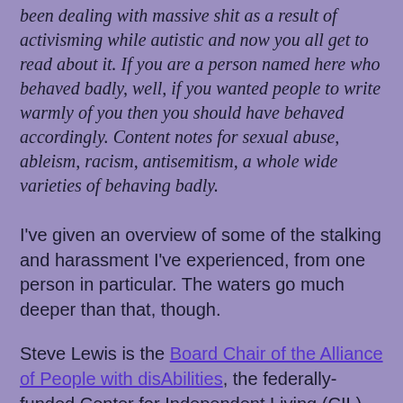been dealing with massive shit as a result of activisming while autistic and now you all get to read about it. If you are a person named here who behaved badly, well, if you wanted people to write warmly of you then you should have behaved accordingly. Content notes for sexual abuse, ableism, racism, antisemitism, a whole wide varieties of behaving badly.
I've given an overview of some of the stalking and harassment I've experienced, from one person in particular. The waters go much deeper than that, though.
Steve Lewis is the Board Chair of the Alliance of People with disAbilities, the federally-funded Center for Independent Living (CIL) for King County. Is--he remains in this position despite his public racist and